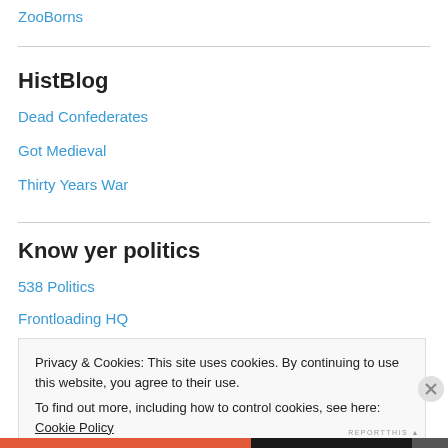ZooBorns
HistBlog
Dead Confederates
Got Medieval
Thirty Years War
Know yer politics
538 Politics
Frontloading HQ
Privacy & Cookies: This site uses cookies. By continuing to use this website, you agree to their use.
To find out more, including how to control cookies, see here: Cookie Policy
Close and accept